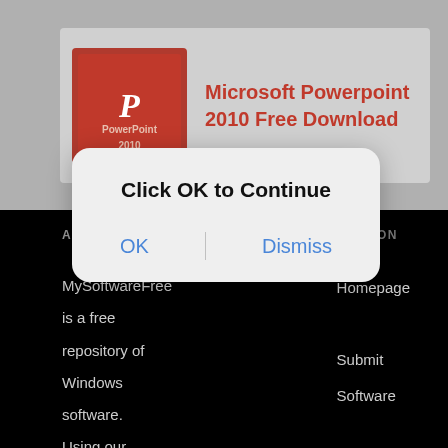[Figure (screenshot): Microsoft PowerPoint 2010 app icon — dark red square with white italic P letter and 'PowerPoint 2010' text]
Microsoft Powerpoint 2010 Free Download
ABOUT US
NAVIGATION
MySoftwareFree is a free repository of Windows software. Using our advanced open-source
Homepage
Submit Software
Contact
DMCA
[Figure (screenshot): iOS-style modal dialog with title 'Click OK to Continue' and two buttons: OK and Dismiss]